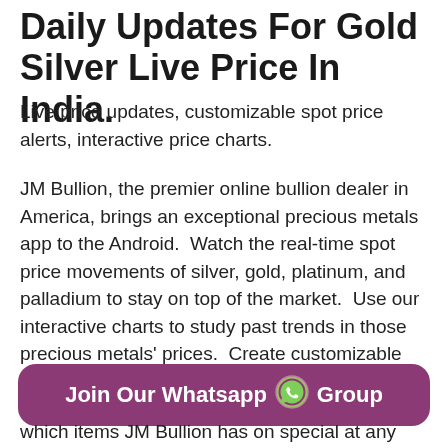Daily Updates For Gold Silver Live Price In India.
Live price updates, customizable spot price alerts, interactive price charts.
JM Bullion, the premier online bullion dealer in America, brings an exceptional precious metals app to the Android.  Watch the real-time spot price movements of silver, gold, platinum, and palladium to stay on top of the market.  Use our interactive charts to study past trends in those precious metals' prices.  Create customizable text and email alerts for when the silver price or gold price reaches
[Figure (infographic): Purple rounded button with text 'Join Our Whatsapp Group' and WhatsApp icon]
which items JM Bullion has on special at any